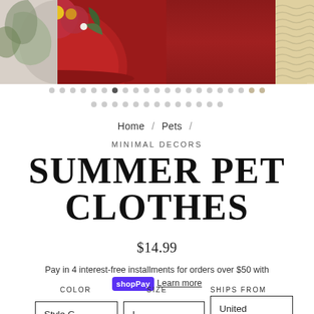[Figure (photo): Product image carousel showing a red circular item with floral decoration in center, partial images on left (dark foliage) and right (cream textile) sides]
Home / Pets /
MINIMAL DECORS
SUMMER PET CLOTHES
$14.99
Pay in 4 interest-free installments for orders over $50 with shopPay Learn more
COLOR   SIZE   SHIPS FROM
Style G ∨   L ∨   United States ∨